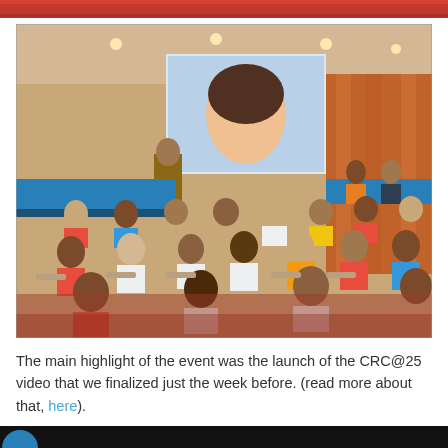[Figure (photo): Top decorative strip showing a patterned or colored banner at the top of the page]
[Figure (photo): Conference room photo showing a presenter at a podium with a large projection screen displaying a woman's face, and an audience of approximately 30–40 people seated in rows facing the front, with a head table covered in blue cloth on the left]
The main highlight of the event was the launch of the CRC@25 video that we finalized just the week before. (read more about that, here).
[Figure (photo): Bottom partial photo strip showing a dark background with a partial circular graphic (blue circle segment visible on the left)]